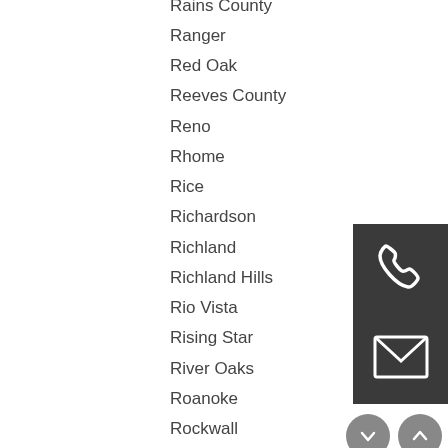Rains County
Ranger
Red Oak
Reeves County
Reno
Rhome
Rice
Richardson
Richland
Richland Hills
Rio Vista
Rising Star
River Oaks
Roanoke
Rockwall
Rockdale
Rockwall County
Rogers
Roscoe
[Figure (illustration): Phone icon in dark grey square box]
[Figure (illustration): Envelope/mail icon in dark grey square box]
[Figure (illustration): Navigation down and up arrow circle buttons in grey]